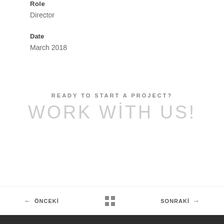Role
Director
Date
March 2018
READY TO START A PROJECT?
WORK WİTH US!
← ÖNCEKİ  SONRAKİ →